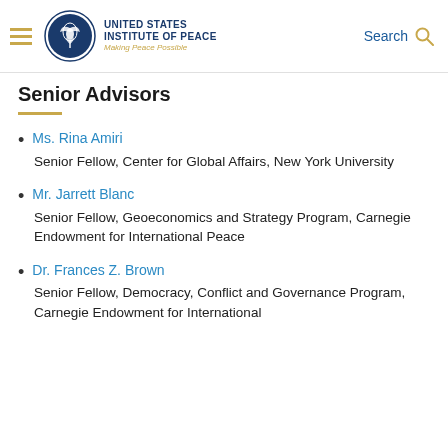United States Institute of Peace — Making Peace Possible | Search
Senior Advisors
Ms. Rina Amiri — Senior Fellow, Center for Global Affairs, New York University
Mr. Jarrett Blanc — Senior Fellow, Geoeconomics and Strategy Program, Carnegie Endowment for International Peace
Dr. Frances Z. Brown — Senior Fellow, Democracy, Conflict and Governance Program, Carnegie Endowment for International